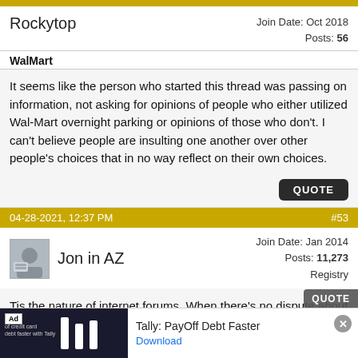Rockytop | Join Date: Oct 2018 | Posts: 56
WalMart
It seems like the person who started this thread was passing on information, not asking for opinions of people who either utilized Wal-Mart overnight parking or opinions of those who don't. I can't believe people are insulting one another over other people's choices that in no way reflect on their own choices.
04-28-2021, 12:37 PM | #53
Jon in AZ | Join Date: Jan 2014 | Posts: 11,273 | Registry
Tis the nature of internet forums. When there's no dispute about the facts to keep a conversation going, opinions take over!
Ad | Tally: PayOff Debt Faster | Download